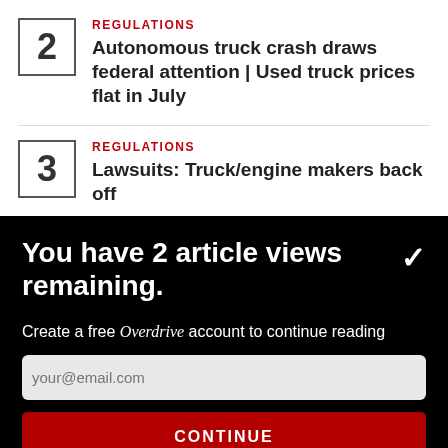2 REGULATIONS Autonomous truck crash draws federal attention | Used truck prices flat in July
3 REGULATIONS Lawsuits: Truck/engine makers back off
You have 2 article views remaining.
Create a free Overdrive account to continue reading
your@email.com
CONTINUE